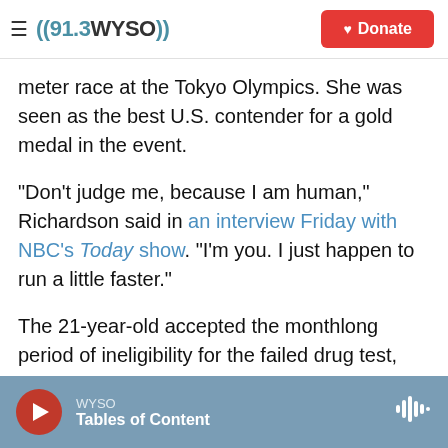((91.3 WYSO)) | Donate
meter race at the Tokyo Olympics. She was seen as the best U.S. contender for a gold medal in the event.
"Don't judge me, because I am human," Richardson said in an interview Friday with NBC's Today show. "I'm you. I just happen to run a little faster."
The 21-year-old accepted the monthlong period of ineligibility for the failed drug test, beginning on June 28, according to the U.S. Anti-Doping Agency.
"The rules are clear, but this is heartbreaking on
WYSO | Tables of Content